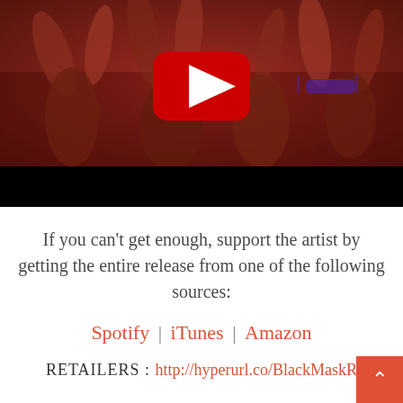[Figure (screenshot): YouTube video thumbnail showing a crowd of people at a concert/festival with hands raised. A red YouTube play button is overlaid on the top portion, with a black bar at the bottom of the video area.]
If you can't get enough, support the artist by getting the entire release from one of the following sources:
Spotify | iTunes | Amazon
RETAILERS : http://hyperurl.co/BlackMaskR